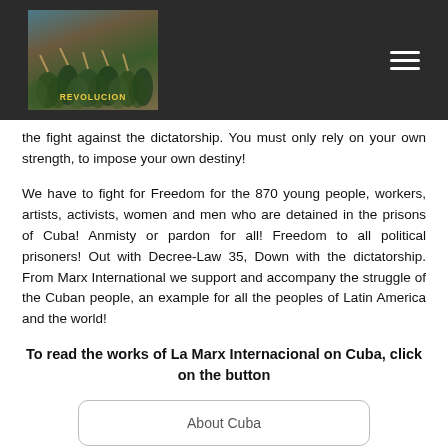REVOLUCION (logo with crowd image) — hamburger menu
the fight against the dictatorship. You must only rely on your own strength, to impose your own destiny!
We have to fight for Freedom for the 870 young people, workers, artists, activists, women and men who are detained in the prisons of Cuba! Anmisty or pardon for all! Freedom to all political prisoners! Out with Decree-Law 35, Down with the dictatorship. From Marx International we support and accompany the struggle of the Cuban people, an example for all the peoples of Latin America and the world!
To read the works of La Marx Internacional on Cuba, click on the button
About Cuba